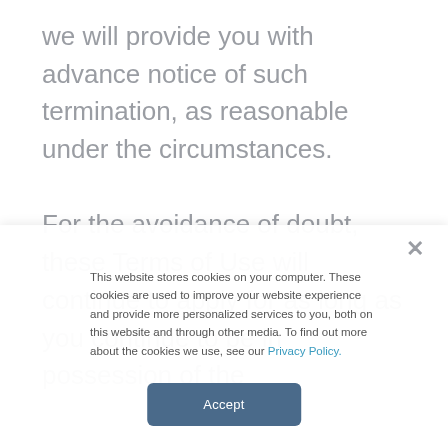we will provide you with advance notice of such termination, as reasonable under the circumstances.
For the avoidance of doubt, these Terms of Use will continue to apply for as long as you continue to be in possession of the
This website stores cookies on your computer. These cookies are used to improve your website experience and provide more personalized services to you, both on this website and through other media. To find out more about the cookies we use, see our Privacy Policy.
Accept